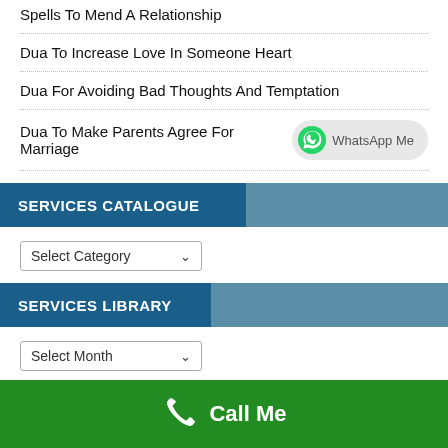Spells To Mend A Relationship
Dua To Increase Love In Someone Heart
Dua For Avoiding Bad Thoughts And Temptation
Dua To Make Parents Agree For Marriage
SERVICES CATALOGUE
Select Category
SERVICES LIBRARY
Select Month
MUST READ
Call Me